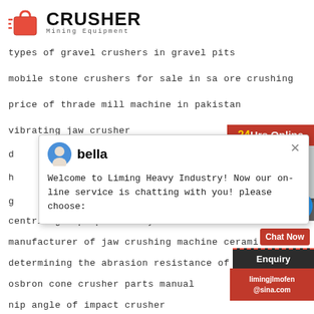[Figure (logo): Crusher Mining Equipment logo with red shopping bag icon and bold CRUSHER text]
types of gravel crushers in gravel pits
mobile stone crushers for sale in sa ore crushing
price of thrade mill machine in pakistan
vibrating jaw crusher
[Figure (screenshot): Live chat popup with avatar of bella, text: Welcome to Liming Heavy Industry! Now our on-line service is chatting with you! please choose:]
d
h
g
centrifugal pump euler dynamics
manufacturer of jaw crushing machine cerami...
determining the abrasion resistance of rubber...
osbron cone crusher parts manual
nip angle of impact crusher